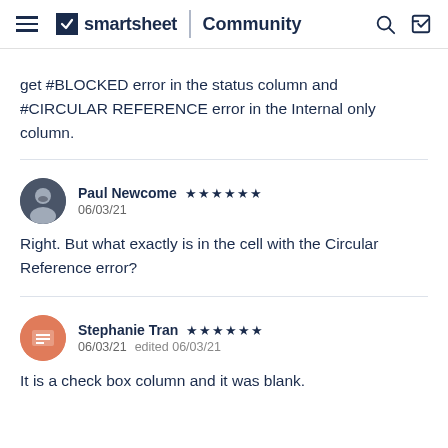smartsheet | Community
get #BLOCKED error in the status column and #CIRCULAR REFERENCE error in the Internal only column.
Paul Newcome ★★★★★★ 06/03/21
Right. But what exactly is in the cell with the Circular Reference error?
Stephanie Tran ★★★★★★ 06/03/21 edited 06/03/21
It is a check box column and it was blank.